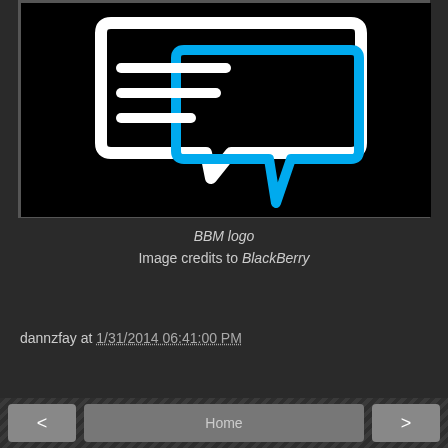[Figure (logo): BBM (BlackBerry Messenger) logo: white speech bubble outline with a blue speech bubble inside, on a black background]
BBM logo
Image credits to BlackBerry
dannzfay at 1/31/2014 06:41:00 PM
Share
No comments:
Post a Comment
< Home >